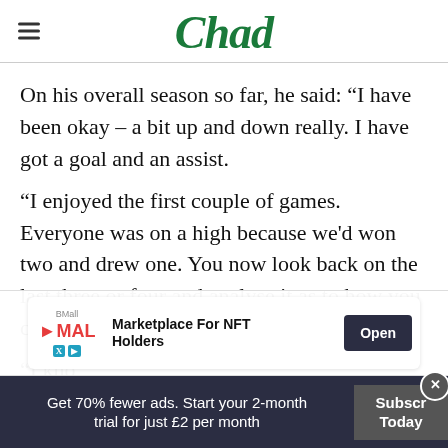Chad
On his overall season so far, he said: “I have been okay – a bit up and down really. I have got a goal and an assist.
“I enjoyed the first couple of games. Everyone was on a high because we’d won two and drew one. You now look back on the last three or four and analyse it as to how you can do better.
“I kno… …oals i…
[Figure (screenshot): BMall MAL advertisement banner for Marketplace For NFT Holders with Open button]
[Figure (screenshot): Bottom subscription promo bar: Get 70% fewer ads. Start your 2-month trial for just £2 per month. Subscribe Today.]